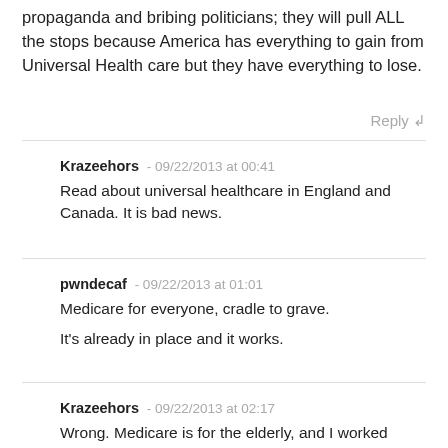propaganda and bribing politicians; they will pull ALL the stops because America has everything to gain from Universal Health care but they have everything to lose.
Reply ↲
Krazeehors - 09/22/2013 at 00:41
Read about universal healthcare in England and Canada. It is bad news.
pwndecaf - 09/22/2013 at 01:01
Medicare for everyone, cradle to grave.

It's already in place and it works.
Krazeehors - 09/22/2013 at 02:17
Wrong. Medicare is for the elderly, and I worked